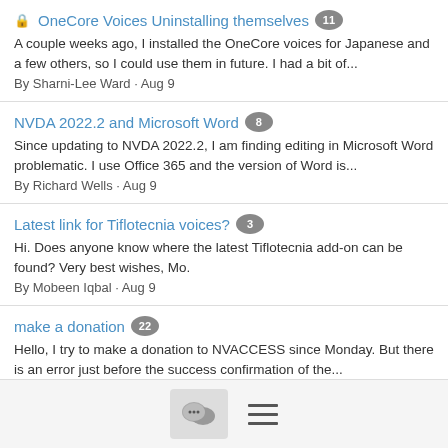🔒 OneCore Voices Uninstalling themselves [11] — A couple weeks ago, I installed the OneCore voices for Japanese and a few others, so I could use them in future. I had a bit of... By Sharni-Lee Ward · Aug 9
NVDA 2022.2 and Microsoft Word [8] — Since updating to NVDA 2022.2, I am finding editing in Microsoft Word problematic. I use Office 365 and the version of Word is... By Richard Wells · Aug 9
Latest link for Tiflotecnia voices? [3] — Hi. Does anyone know where the latest Tiflotecnia add-on can be found? Very best wishes, Mo. By Mobeen Iqbal · Aug 9
make a donation [22] — Hello, I try to make a donation to NVACCESS since Monday. But there is an error just before the success confirmation of the... By David Galantin · Aug 9